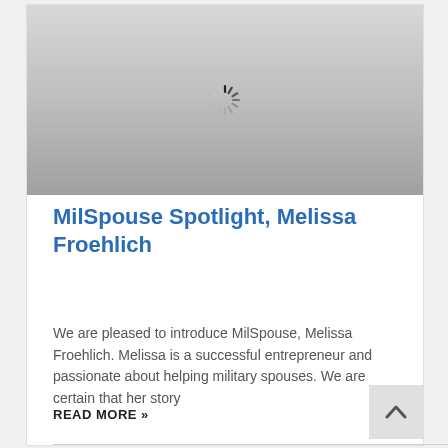[Figure (photo): Loading spinner / placeholder image area with gradient gray background and a spinning loader icon in the center]
MilSpouse Spotlight, Melissa Froehlich
We are pleased to introduce MilSpouse, Melissa Froehlich.  Melissa is a successful entrepreneur and passionate about helping military spouses.  We are certain that her story
READ MORE »